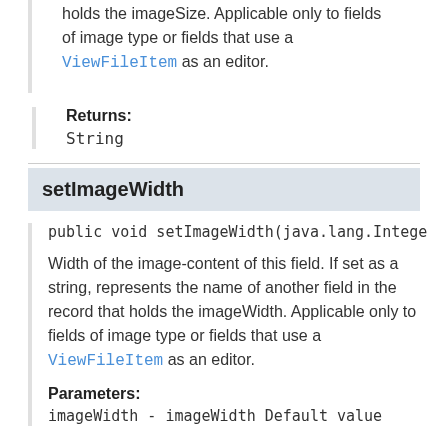holds the imageSize. Applicable only to fields of image type or fields that use a ViewFileItem as an editor.
Returns:
String
setImageWidth
public void setImageWidth(java.lang.Integer
Width of the image-content of this field. If set as a string, represents the name of another field in the record that holds the imageWidth. Applicable only to fields of image type or fields that use a ViewFileItem as an editor.
Parameters:
imageWidth - imageWidth Default value